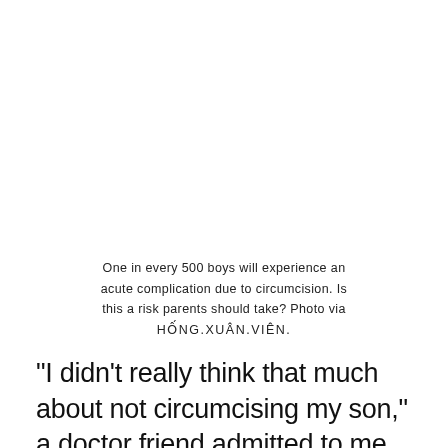One in every 500 boys will experience an acute complication due to circumcision. Is this a risk parents should take? Photo via HỐNG.XUÂN.VIÊN.
“I didn’t really think that much about not circumcising my son,” a doctor friend admitted to me as we hiked through Lithia Park last weekend. “Didn’t research it … I just trusted